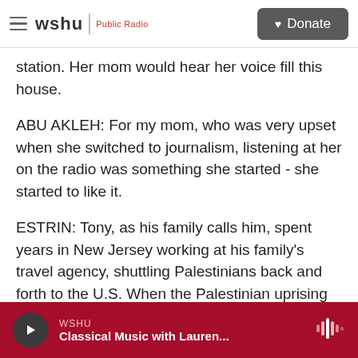wshu | Public Radio  [Donate]
station. Her mom would hear her voice fill this house.
ABU AKLEH: For my mom, who was very upset when she switched to journalism, listening at her on the radio was something she started - she started to like it.
ESTRIN: Tony, as his family calls him, spent years in New Jersey working at his family's travel agency, shuttling Palestinians back and forth to the U.S. When the Palestinian uprising erupted in 2000, he switched to shuttle diplomacy for the United
WSHU  Classical Music with Lauren...